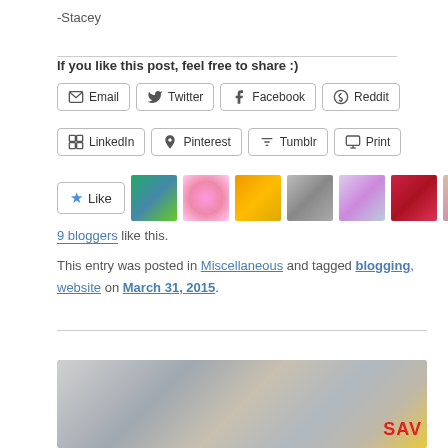-Stacey
If you like this post, feel free to share :)
Email | Twitter | Facebook | Reddit | LinkedIn | Pinterest | Tumblr | Print
[Figure (other): Like button with 9 blogger avatars]
9 bloggers like this.
This entry was posted in Miscellaneous and tagged blogging, website on March 31, 2015.
[Figure (photo): Photo of coupons/flyers with SAV text visible at bottom right]